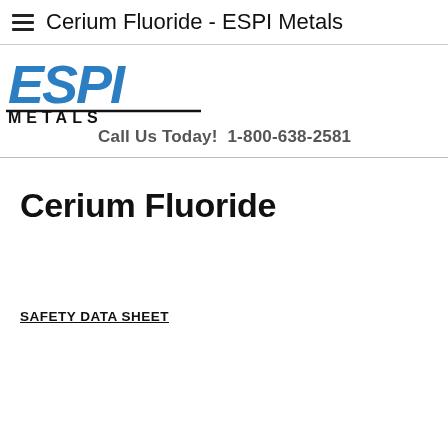Cerium Fluoride - ESPI Metals
[Figure (logo): ESPI Metals company logo with blue italic ESPI lettering and black METALS text below, with a horizontal rule]
Call Us Today!  1-800-638-2581
Cerium Fluoride
SAFETY DATA SHEET